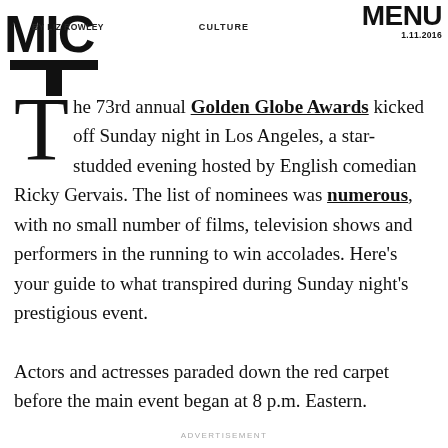BY LIZ ROWLEY   CULTURE   MENU 1.11.2016
The 73rd annual Golden Globe Awards kicked off Sunday night in Los Angeles, a star-studded evening hosted by English comedian Ricky Gervais. The list of nominees was numerous, with no small number of films, television shows and performers in the running to win accolades. Here's your guide to what transpired during Sunday night's prestigious event.

Actors and actresses paraded down the red carpet before the main event began at 8 p.m. Eastern.
ADVERTISEMENT